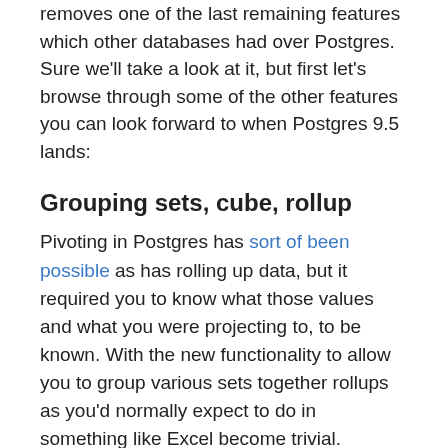removes one of the last remaining features which other databases had over Postgres. Sure we'll take a look at it, but first let's browse through some of the other features you can look forward to when Postgres 9.5 lands:
Grouping sets, cube, rollup
Pivoting in Postgres has sort of been possible as has rolling up data, but it required you to know what those values and what you were projecting to, to be known. With the new functionality to allow you to group various sets together rollups as you'd normally expect to do in something like Excel become trivial.